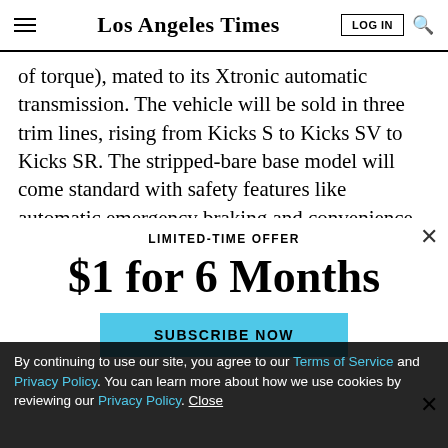Los Angeles Times
of torque), mated to its Xtronic automatic transmission. The vehicle will be sold in three trim lines, rising from Kicks S to Kicks SV to Kicks SR. The stripped-bare base model will come standard with safety features like automatic emergency braking and convenience features like...
LIMITED-TIME OFFER
$1 for 6 Months
SUBSCRIBE NOW
By continuing to use our site, you agree to our Terms of Service and Privacy Policy. You can learn more about how we use cookies by reviewing our Privacy Policy. Close